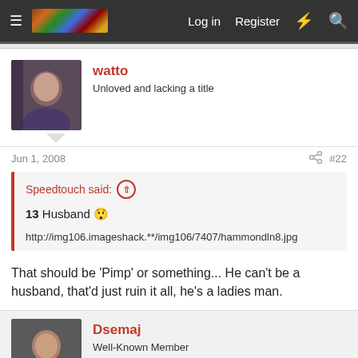Log in  Register
watto
Unloved and lacking a title
Jun 1, 2008  #22
Speedtouch said:
13 Husband 😱
http://img106.imageshack.**/img106/7407/hammondln8.jpg
That should be 'Pimp' or something... He can't be a husband, that'd just ruin it all, he's a ladies man.
Dsemaj
Well-Known Member